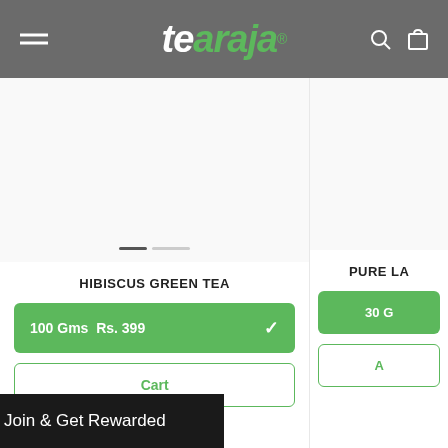[Figure (screenshot): Tearaja e-commerce website header with logo, hamburger menu, search and cart icons on a dark grey background]
tearaja®
[Figure (photo): Product image area for Hibiscus Green Tea - light grey background with image carousel dots]
HIBISCUS GREEN TEA
100 Gms  Rs. 399
Cart
[Figure (photo): Product image area for second product - partially visible]
PURE LA
30 G
A
Join & Get Rewarded